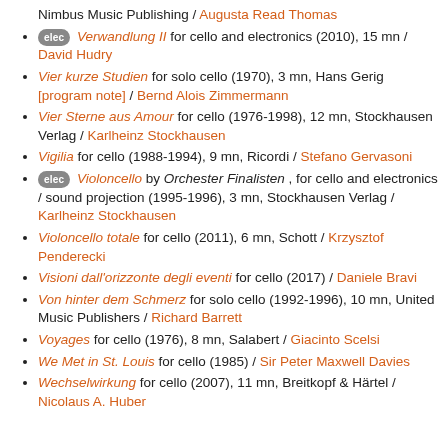Nimbus Music Publishing / Augusta Read Thomas
[elec] Verwandlung II for cello and electronics (2010), 15 mn / David Hudry
Vier kurze Studien for solo cello (1970), 3 mn, Hans Gerig [program note] / Bernd Alois Zimmermann
Vier Sterne aus Amour for cello (1976-1998), 12 mn, Stockhausen Verlag / Karlheinz Stockhausen
Vigilia for cello (1988-1994), 9 mn, Ricordi / Stefano Gervasoni
[elec] Violoncello by Orchester Finalisten , for cello and electronics / sound projection (1995-1996), 3 mn, Stockhausen Verlag / Karlheinz Stockhausen
Violoncello totale for cello (2011), 6 mn, Schott / Krzysztof Penderecki
Visioni dall'orizzonte degli eventi for cello (2017) / Daniele Bravi
Von hinter dem Schmerz for solo cello (1992-1996), 10 mn, United Music Publishers / Richard Barrett
Voyages for cello (1976), 8 mn, Salabert / Giacinto Scelsi
We Met in St. Louis for cello (1985) / Sir Peter Maxwell Davies
Wechselwirkung for cello (2007), 11 mn, Breitkopf & Härtel / Nicolaus A. Huber